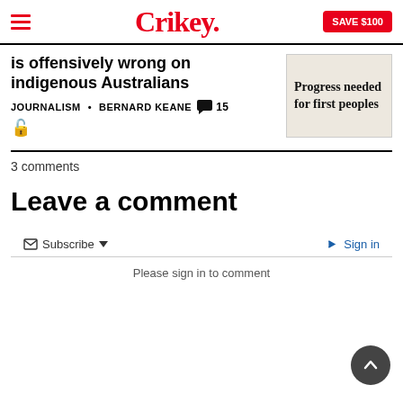Crikey. SAVE $100
is offensively wrong on indigenous Australians
JOURNALISM • BERNARD KEANE 💬 15 🔓
[Figure (other): Sidebar card with text: Progress needed for first peoples]
3 comments
Leave a comment
✉ Subscribe ▾   ➡ Sign in
Please sign in to comment